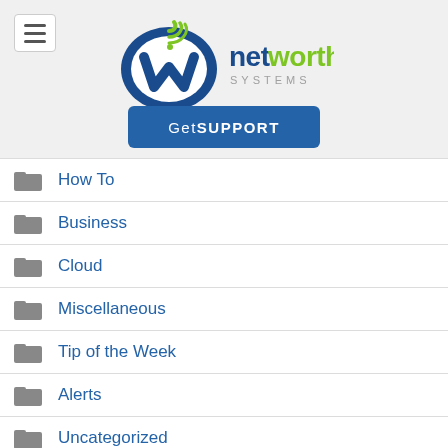[Figure (logo): NetWorthy Systems logo with stylized 'w' icon in blue and green, with text 'networthy' in dark blue and 'SYSTEMS' in gray below]
How To
Business
Cloud
Miscellaneous
Tip of the Week
Alerts
Uncategorized
Off Topic/Fun